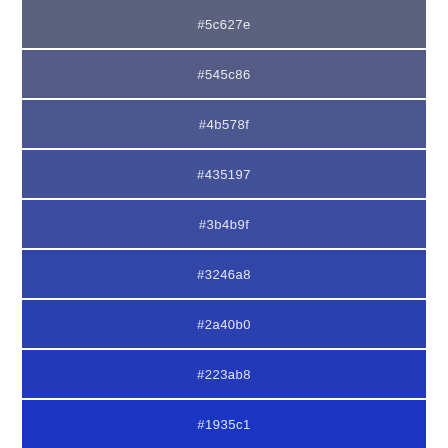[Figure (infographic): Color palette swatches showing a gradient from grayish-blue to vivid blue. Nine color swatches stacked vertically, each labeled with its hex color code: #5c627e, #545c86, #4b578f, #435197, #3b4b9f, #3246a8, #2a40b0, #223ab8, #1935c1.]